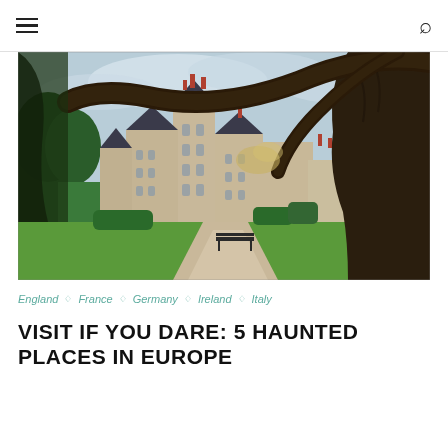☰  🔍
[Figure (photo): A grand French château (Château de Brissac or similar Loire Valley castle) viewed through the arching branches of a large tree. The stone castle has multiple towers with dark conical roofs, ornate Renaissance architecture, chimneys, and arched windows. The foreground shows a gravel path, lush green lawn, a wooden bench, and the massive dark trunk of a tree on the right. The sky is overcast and light blue.]
England ◇ France ◇ Germany ◇ Ireland ◇ Italy
VISIT IF YOU DARE: 5 HAUNTED PLACES IN EUROPE